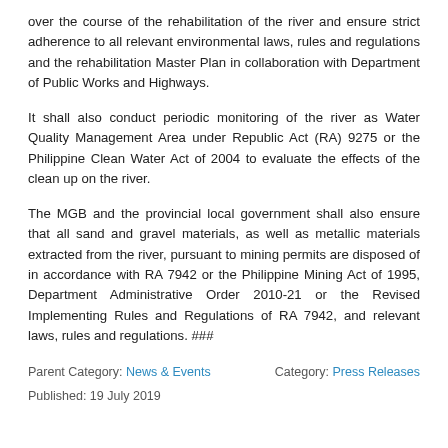over the course of the rehabilitation of the river and ensure strict adherence to all relevant environmental laws, rules and regulations and the rehabilitation Master Plan in collaboration with Department of Public Works and Highways.
It shall also conduct periodic monitoring of the river as Water Quality Management Area under Republic Act (RA) 9275 or the Philippine Clean Water Act of 2004 to evaluate the effects of the clean up on the river.
The MGB and the provincial local government shall also ensure that all sand and gravel materials, as well as metallic materials extracted from the river, pursuant to mining permits are disposed of in accordance with RA 7942 or the Philippine Mining Act of 1995, Department Administrative Order 2010-21 or the Revised Implementing Rules and Regulations of RA 7942, and relevant laws, rules and regulations. ###
Parent Category: News & Events    Category: Press Releases
Published: 19 July 2019